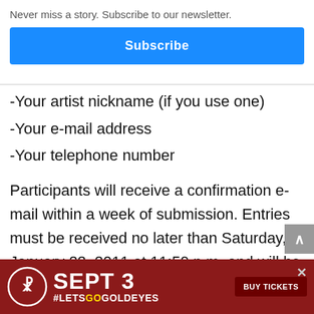Never miss a story. Subscribe to our newsletter.
Subscribe
-Your artist nickname (if you use one)
-Your e-mail address
-Your telephone number
Participants will receive a confirmation e-mail within a week of submission. Entries must be received no later than Saturday, January 22, 2011 at 11:59 p.m. and will be judged by Ai-Kon executives. The winning entry will be announced on or before Sunday,
Janua
[Figure (infographic): Red advertisement banner: SEPT 3 #LETSGOGOLDEYES with BUY TICKETS button and circular logo on left]